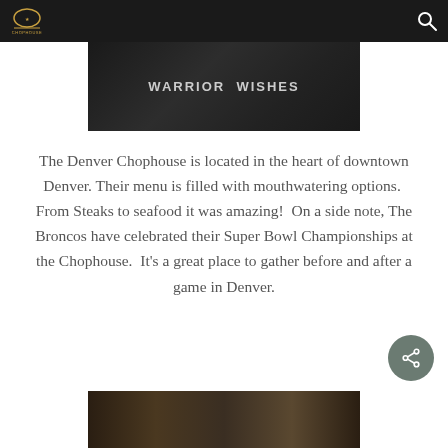Navigation bar with logo and search icon
[Figure (photo): Photo of a person wearing a 'WARRIOR WISHES' t-shirt, dark background]
The Denver Chophouse is located in the heart of downtown Denver. Their menu is filled with mouthwatering options.  From Steaks to seafood it was amazing!  On a side note, The Broncos have celebrated their Super Bowl Championships at the Chophouse.  It's a great place to gather before and after a game in Denver.
[Figure (photo): Interior photo of Denver Chophouse restaurant, dimly lit with warm tones, people visible inside]